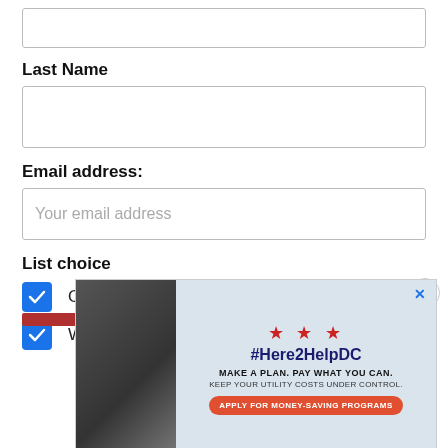Last Name
Email address:
Your email address
List choice
Our House D.C.
WIN Daily
[Figure (infographic): Advertisement banner for #Here2HelpDC utility assistance program with red stars, bold hashtag text, taglines 'MAKE A PLAN. PAY WHAT YOU CAN.' and 'KEEP YOUR UTILITY COSTS UNDER CONTROL.', and a red oval button reading 'APPLY FOR MONEY-SAVING PROGRAMS'. Left side shows a dark photo of hands holding something.]